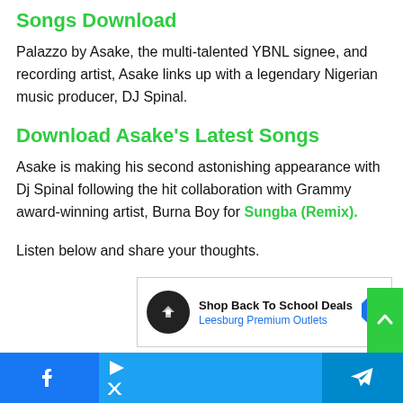Songs Download
Palazzo by Asake, the multi-talented YBNL signee, and recording artist, Asake links up with a legendary Nigerian music producer, DJ Spinal.
Download Asake's Latest Songs
Asake is making his second astonishing appearance with Dj Spinal following the hit collaboration with Grammy award-winning artist, Burna Boy for Sungba (Remix).
Listen below and share your thoughts.
[Figure (other): Advertisement banner: Shop Back To School Deals at Leesburg Premium Outlets with logo and arrow icon]